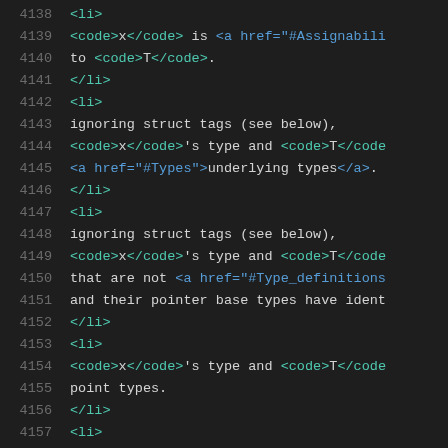Code listing lines 4138–4159 showing HTML/XML source with line numbers. Contains li, code, and anchor tags in a dark-themed code editor view.